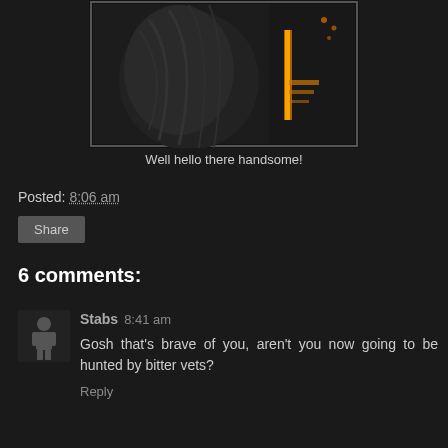[Figure (photo): A dark sci-fi character in black armor with orange/yellow lighting in the background, partially cropped at top]
Well hello there handsome!
Posted: 8:06 am
Share
6 comments:
Stabs 8:41 am
Gosh that's brave of you, aren't you now going to be hunted by bitter vets?
Reply